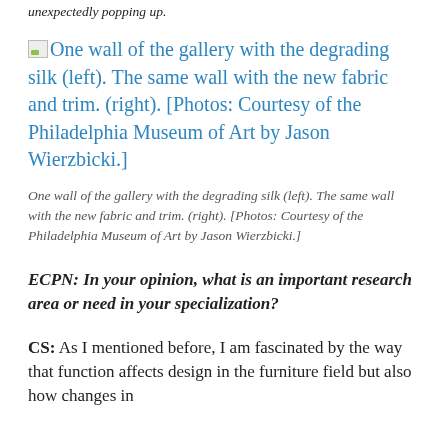unexpectedly popping up.
[Figure (photo): Placeholder image icon representing photo of gallery wall with degrading silk (left) and new fabric and trim (right). Photos courtesy of Philadelphia Museum of Art by Jason Wierzbicki.]
One wall of the gallery with the degrading silk (left). The same wall with the new fabric and trim. (right). [Photos: Courtesy of the Philadelphia Museum of Art by Jason Wierzbicki.]
ECPN: In your opinion, what is an important research area or need in your specialization?
CS: As I mentioned before, I am fascinated by the way that function affects design in the furniture field but also how changes in